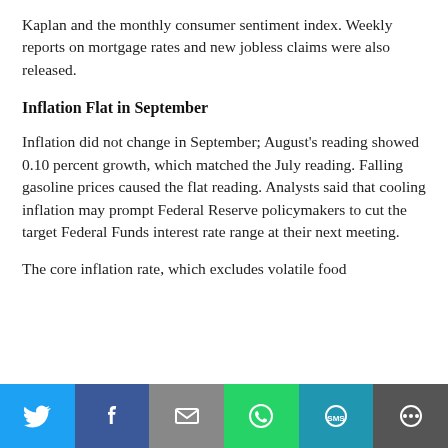Kaplan and the monthly consumer sentiment index. Weekly reports on mortgage rates and new jobless claims were also released.
Inflation Flat in September
Inflation did not change in September; August's reading showed 0.10 percent growth, which matched the July reading. Falling gasoline prices caused the flat reading. Analysts said that cooling inflation may prompt Federal Reserve policymakers to cut the target Federal Funds interest rate range at their next meeting.
The core inflation rate, which excludes volatile food